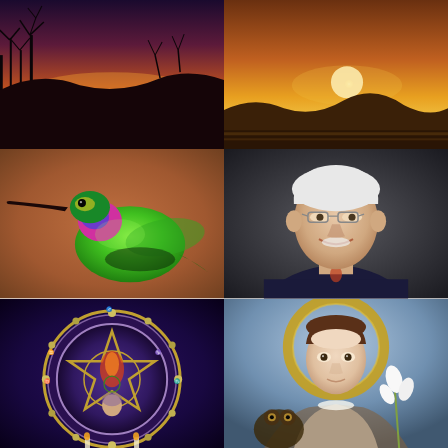[Figure (photo): Sunset landscape with silhouetted bare trees against an orange and purple sky reflected on water below]
[Figure (photo): Golden sunset over rolling hills/mountains with large bright sun on the horizon and warm orange sky]
[Figure (photo): Close-up of a colorful hummingbird with bright green body, pink and blue iridescent throat feathers, against a blurred orange-brown background]
[Figure (photo): Portrait of an older smiling man with white hair and glasses, wearing a dark shirt with a colorful bolo tie, against a dark gray background]
[Figure (illustration): Decorative mystical circular wheel design with a pentagram/pentacle star in the center, zodiac symbols, moon phases, fire and nature imagery, and a woman's face at the bottom, purple and gold tones]
[Figure (illustration): Classical painting-style illustration of a young woman with a golden halo, brown hair, wearing a white dress, holding white lilies, with a gentle upward gaze — saint or religious figure depiction]